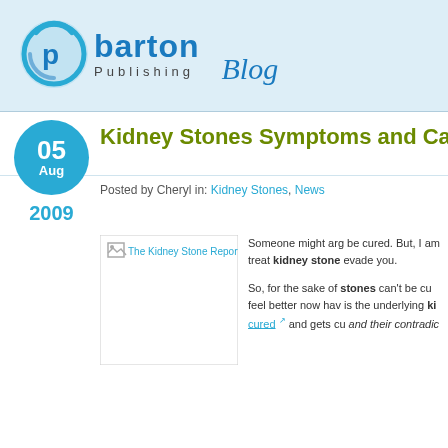[Figure (logo): Barton Publishing Blog logo with circular 'p' icon, 'barton' in blue bold text, 'Publishing' in grey, and 'Blog' in italic blue cursive]
Kidney Stones Symptoms and Cau
Posted by Cheryl in: Kidney Stones, News
[Figure (photo): The Kidney Stone Report book/product image (broken image placeholder shown)]
Someone might arg be cured. But, I am treat kidney stone evade you.

So, for the sake of stones can't be cu feel better now hav is the underlying ki cured and gets cu and their contradic